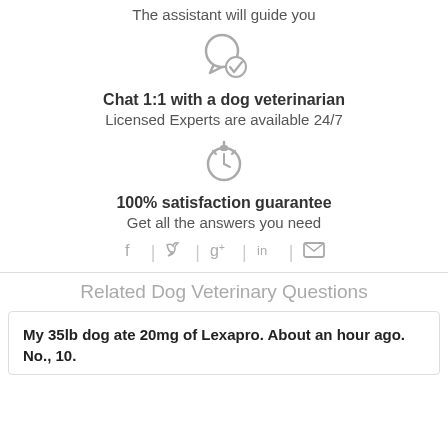The assistant will guide you
[Figure (illustration): Chat bubble with a checkmark icon]
Chat 1:1 with a dog veterinarian
Licensed Experts are available 24/7
[Figure (illustration): Stopwatch/timer icon]
100% satisfaction guarantee
Get all the answers you need
[Figure (other): Social sharing icons: Facebook, Twitter, Google+, LinkedIn, Email]
Related Dog Veterinary Questions
My 35lb dog ate 20mg of Lexapro. About an hour ago. No., 10.